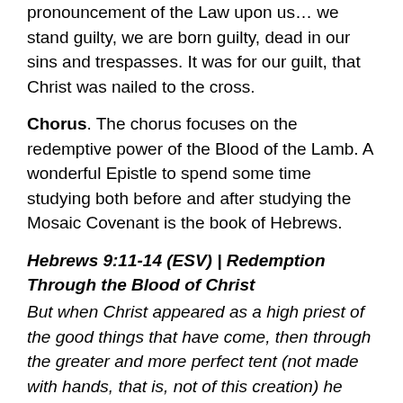pronouncement of the Law upon us… we stand guilty, we are born guilty, dead in our sins and trespasses. It was for our guilt, that Christ was nailed to the cross.
Chorus. The chorus focuses on the redemptive power of the Blood of the Lamb. A wonderful Epistle to spend some time studying both before and after studying the Mosaic Covenant is the book of Hebrews.
Hebrews 9:11-14 (ESV) | Redemption Through the Blood of Christ
But when Christ appeared as a high priest of the good things that have come, then through the greater and more perfect tent (not made with hands, that is, not of this creation) he entered once for all into the holy places, not by means of the blood of goats and calves but by means of his own blood, thus securing an eternal redemption. For